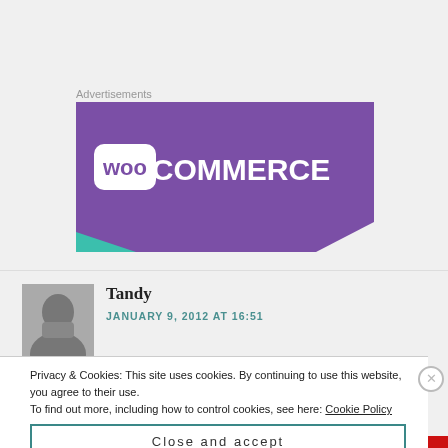Advertisements
[Figure (logo): WooCommerce logo on purple banner background]
Tandy
JANUARY 9, 2012 AT 16:51
Privacy & Cookies: This site uses cookies. By continuing to use this website, you agree to their use.
To find out more, including how to control cookies, see here: Cookie Policy
Close and accept